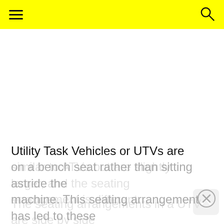≡ [search icon]
[Figure (other): Large white empty space below the yellow header bar — likely an image placeholder or advertisement space.]
Utility Task Vehicles or UTVs are similar to ATVs but are slightly larger, and the seating arrangement is different.
The seating arrangements in a UTV are side by side on a bench seat rather than sitting astride the machine. This seating arrangement has led to these